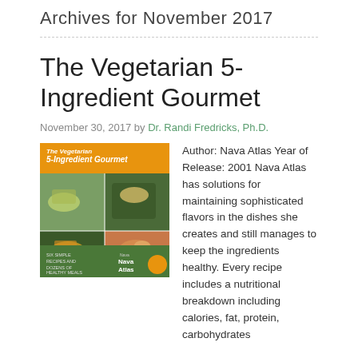Archives for November 2017
The Vegetarian 5-Ingredient Gourmet
November 30, 2017 by Dr. Randi Fredricks, Ph.D.
[Figure (photo): Book cover of 'The Vegetarian 5-Ingredient Gourmet' by Nava Atlas, orange and green cover with food photos]
Author: Nava Atlas Year of Release: 2001 Nava Atlas has solutions for maintaining sophisticated flavors in the dishes she creates and still manages to keep the ingredients healthy. Every recipe includes a nutritional breakdown including calories, fat, protein, carbohydrates